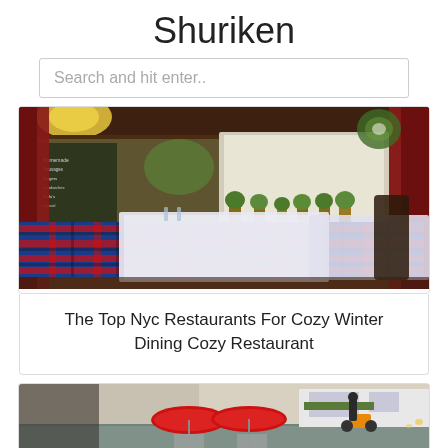Shuriken
Search and hit enter..
[Figure (photo): Interior of a cozy restaurant with tartan plaid booth seating, white tablecloths, red curtains, a large mirror with chalkboard writing, and potted plants on windowsills.]
The Top Nyc Restaurants For Cozy Winter Dining Cozy Restaurant
[Figure (photo): Exterior street scene of a restaurant with red umbrellas and outdoor seating on a wet day, with storefronts visible in the background.]